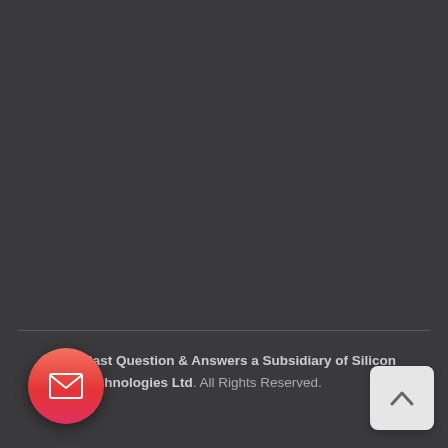©2020 Past Question & Answers a Subsidiary of Silicon Africa Technologies Ltd. All Rights Reserved.
[Figure (illustration): Red circular email FAB button with white envelope icon]
[Figure (illustration): Light grey rounded scroll-to-top button with upward chevron arrow]